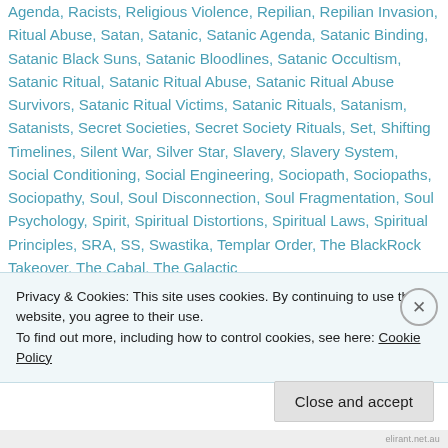Agenda, Racists, Religious Violence, Repilian, Repilian Invasion, Ritual Abuse, Satan, Satanic, Satanic Agenda, Satanic Binding, Satanic Black Suns, Satanic Bloodlines, Satanic Occultism, Satanic Ritual, Satanic Ritual Abuse, Satanic Ritual Abuse Survivors, Satanic Ritual Victims, Satanic Rituals, Satanism, Satanists, Secret Societies, Secret Society Rituals, Set, Shifting Timelines, Silent War, Silver Star, Slavery, Slavery System, Social Conditioning, Social Engineering, Sociopath, Sociopaths, Sociopathy, Soul, Soul Disconnection, Soul Fragmentation, Soul Psychology, Spirit, Spiritual Distortions, Spiritual Laws, Spiritual Principles, SRA, SS, Swastika, Templar Order, The BlackRock Takeover, The Cabal, The Galactic
Privacy & Cookies: This site uses cookies. By continuing to use this website, you agree to their use.
To find out more, including how to control cookies, see here: Cookie Policy